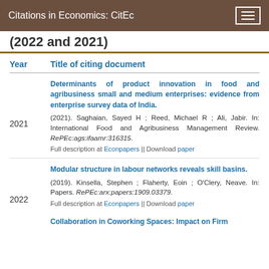Citations in Economics: CitEc
(2022 and 2021)
| Year | Title of citing document |
| --- | --- |
| 2021 | Determinants of product innovation in food and agribusiness small and medium enterprises: evidence from enterprise survey data of India. (2021). Saghaian, Sayed H ; Reed, Michael R ; Ali, Jabir. In: International Food and Agribusiness Management Review. RePEc:ags:ifaamr:316315.
Full description at Econpapers || Download paper |
| 2022 | Modular structure in labour networks reveals skill basins. (2019). Kinsella, Stephen ; Flaherty, Eoin ; O'Clery, Neave. In: Papers. RePEc:arx:papers:1909.03379.
Full description at Econpapers || Download paper |
|  | Collaboration in Coworking Spaces: Impact on Firm... |